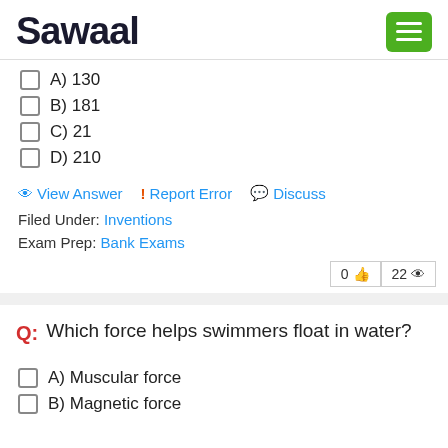Sawaal
A) 130
B) 181
C) 21
D) 210
View Answer  !  Report Error  Discuss
Filed Under: Inventions
Exam Prep: Bank Exams
0  22
Q: Which force helps swimmers float in water?
A) Muscular force
B) Magnetic force